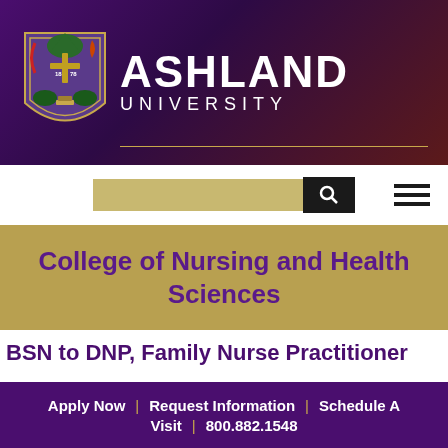[Figure (logo): Ashland University header banner with shield logo and university name in white on purple gradient background]
[Figure (screenshot): Search bar with tan/gold input field and black search button icon, and hamburger menu icon on right]
College of Nursing and Health Sciences
BSN to DNP, Family Nurse Practitioner
[Figure (photo): Photo of a woman in white coat examining a young boy's height against a wall]
Apply Now | Request Information | Schedule A Visit | 800.882.1548